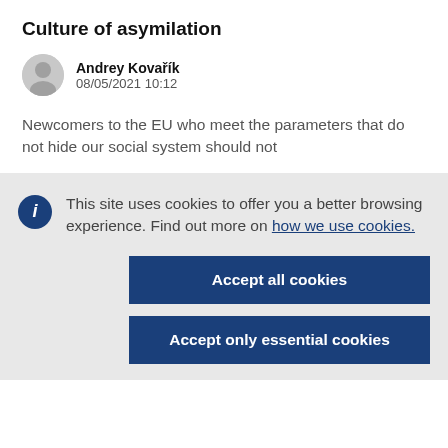Culture of asymilation
Andrey Kovařík
08/05/2021 10:12
Newcomers to the EU who meet the parameters that do not hide our social system should not
This site uses cookies to offer you a better browsing experience. Find out more on how we use cookies.
Accept all cookies
Accept only essential cookies